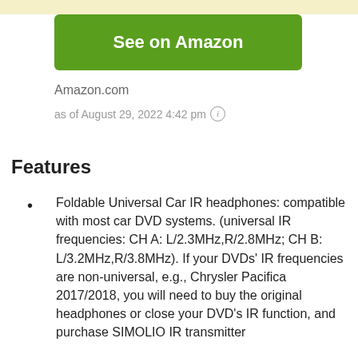[Figure (other): Green 'See on Amazon' button]
Amazon.com
as of August 29, 2022 4:42 pm ℹ
Features
Foldable Universal Car IR headphones: compatible with most car DVD systems. (universal IR frequencies: CH A: L/2.3MHz,R/2.8MHz; CH B: L/3.2MHz,R/3.8MHz). If your DVDs' IR frequencies are non-universal, e.g., Chrysler Pacifica 2017/2018, you will need to buy the original headphones or close your DVD's IR function, and purchase SIMOLIO IR transmitter